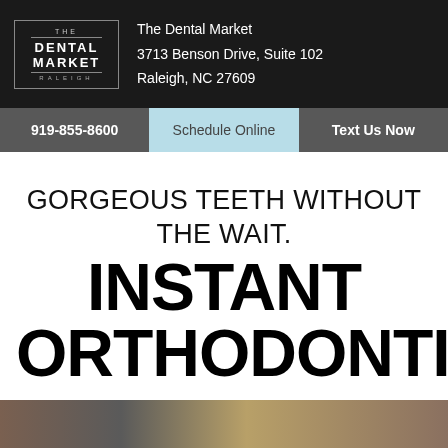The Dental Market
3713 Benson Drive, Suite 102
Raleigh, NC 27609
919-855-8600
Schedule Online
Text Us Now
GORGEOUS TEETH WITHOUT THE WAIT.
INSTANT ORTHODONTICS
[Figure (photo): A horizontal strip showing close-up texture images, appearing to be wood or stone surfaces in varying tones of brown, grey, and tan.]